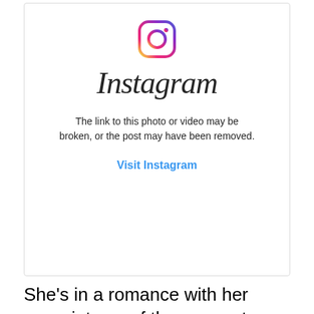[Figure (screenshot): Instagram embed error state showing the Instagram camera icon, the Instagram wordmark in italic script, an error message reading 'The link to this photo or video may be broken, or the post may have been removed.', and a 'Visit Instagram' link in blue.]
She's in a romance with her associate as of the moment; point. She is now dating